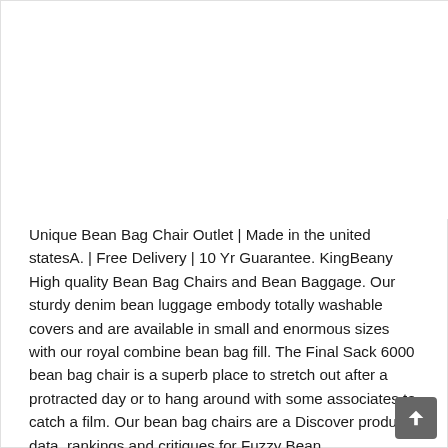[Figure (other): Blank white area occupying the upper portion of the page (likely an image placeholder or advertisement space)]
Unique Bean Bag Chair Outlet | Made in the united statesA. | Free Delivery | 10 Yr Guarantee. KingBeany High quality Bean Bag Chairs and Bean Baggage. Our sturdy denim bean luggage embody totally washable covers and are available in small and enormous sizes with our royal combine bean bag fill. The Final Sack 6000 bean bag chair is a superb place to stretch out after a protracted day or to hang around with some associates to catch a film. Our bean bag chairs are a Discover product data, rankings and critiques for Fuzzy Bean